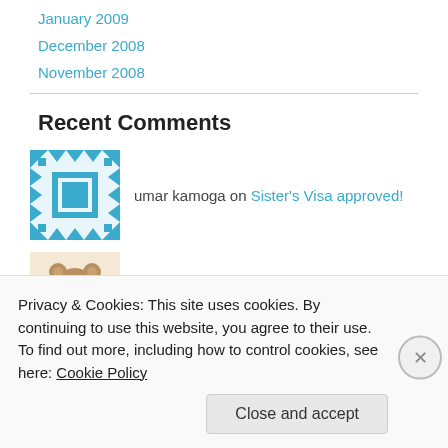January 2009
December 2008
November 2008
Recent Comments
umar kamoga on Sister's Visa approved!
Relationship marlark… on The Valentine's Gifted
Pat @ Mille Fiori Fa… on First of January
Privacy & Cookies: This site uses cookies. By continuing to use this website, you agree to their use.
To find out more, including how to control cookies, see here: Cookie Policy